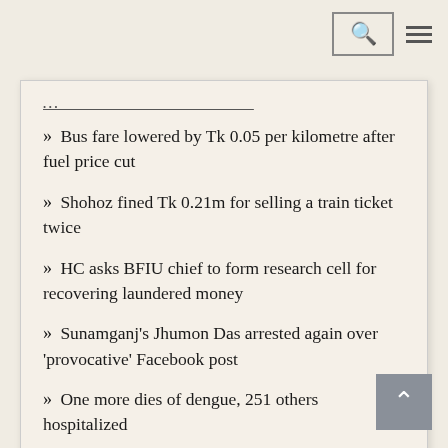Search and menu navigation header
Bus fare lowered by Tk 0.05 per kilometre after fuel price cut
Shohoz fined Tk 0.21m for selling a train ticket twice
HC asks BFIU chief to form research cell for recovering laundered money
Sunamganj's Jhumon Das arrested again over 'provocative' Facebook post
One more dies of dengue, 251 others hospitalized